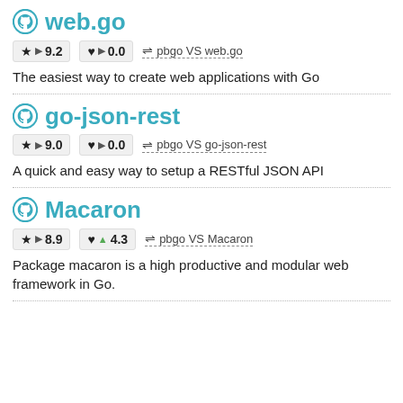web.go
★ ▶ 9.2   ♥ ▶ 0.0   ⇌ pbgo VS web.go
The easiest way to create web applications with Go
go-json-rest
★ ▶ 9.0   ♥ ▶ 0.0   ⇌ pbgo VS go-json-rest
A quick and easy way to setup a RESTful JSON API
Macaron
★ ▶ 8.9   ♥ ▲ 4.3   ⇌ pbgo VS Macaron
Package macaron is a high productive and modular web framework in Go.